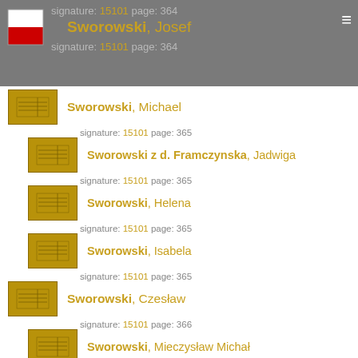signature: 15101 page: 364 Sworowski, Josef signature: 15101 page: 364
Sworowski, Michael — signature: 15101 page: 365
Sworowski z d. Framczynska, Jadwiga — signature: 15101 page: 365
Sworowski, Helena — signature: 15101 page: 365
Sworowski, Isabela — signature: 15101 page: 365
Sworowski, Czesław — signature: 15101 page: 366
Sworowski, Mieczysław Michał — signature: 15101 page: 366
Sworowski, Michael — signature: 15101 page: 367
Sworowski, Roman — signature: 15101 page: 369
Sworowski z d. Piotrowska, Agathe — signature: 15101 page: 369